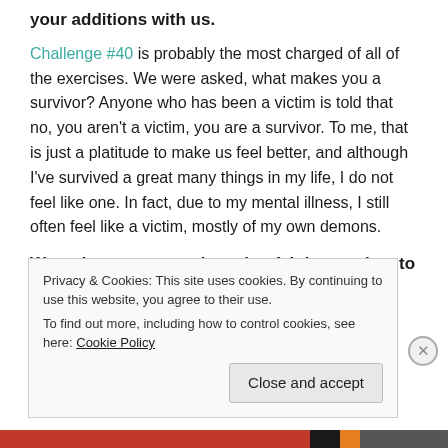your additions with us.
Challenge #40 is probably the most charged of all of the exercises. We were asked, what makes you a survivor? Anyone who has been a victim is told that no, you aren't a victim, you are a survivor. To me, that is just a platitude to make us feel better, and although I've survived a great many things in my life, I do not feel like one. In fact, due to my mental illness, I still often feel like a victim, mostly of my own demons.
Were there any exercises that felt incomplete to you?
Privacy & Cookies: This site uses cookies. By continuing to use this website, you agree to their use.
To find out more, including how to control cookies, see here: Cookie Policy